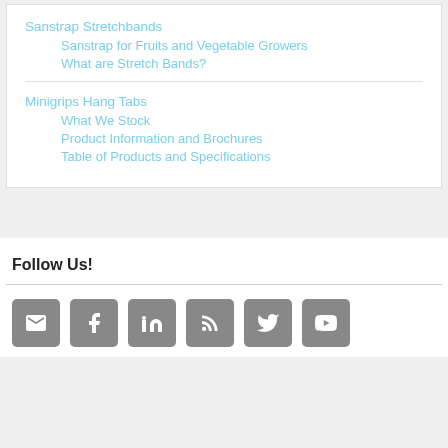Sanstrap Stretchbands
Sanstrap for Fruits and Vegetable Growers
What are Stretch Bands?
Minigrips Hang Tabs
What We Stock
Product Information and Brochures
Table of Products and Specifications
Follow Us!
[Figure (infographic): Six social media icon buttons: email, Facebook, LinkedIn, RSS, Twitter, YouTube — grey rounded square buttons with white icons]